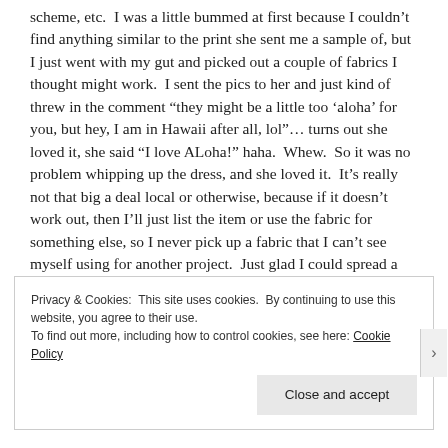scheme, etc.  I was a little bummed at first because I couldn't find anything similar to the print she sent me a sample of, but I just went with my gut and picked out a couple of fabrics I thought might work.  I sent the pics to her and just kind of threw in the comment "they might be a little too 'aloha' for you, but hey, I am in Hawaii after all, lol"… turns out she loved it, she said "I love ALoha!" haha.  Whew.  So it was no problem whipping up the dress, and she loved it.  It's really not that big a deal local or otherwise, because if it doesn't work out, then I'll just list the item or use the fabric for something else, so I never pick up a fabric that I can't see myself using for another project.  Just glad I could spread a little aloha though!
Privacy & Cookies: This site uses cookies. By continuing to use this website, you agree to their use. To find out more, including how to control cookies, see here: Cookie Policy